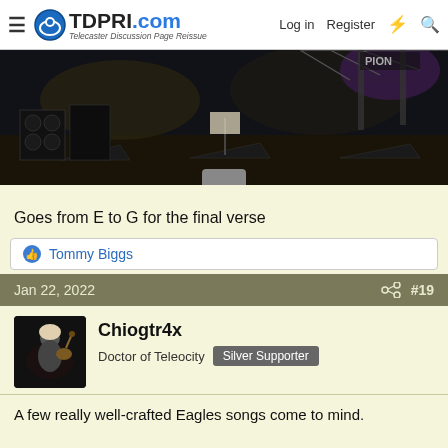TDPRI.com — Telecaster Discussion Page Reissue — Log in | Register
[Figure (photo): Concert stage photograph showing equipment, monitors, and stage setup in dark/low-light conditions]
Goes from E to G for the final verse
👍 Tommy Biggs
Jan 22, 2022  #19
Chiogtr4x
Doctor of Teleocity  Silver Supporter
A few really well-crafted Eagles songs come to mind.

" Already Gone" the whole song is G/D/C
until that vocal Chorus outro, which changes key, to C/G/F